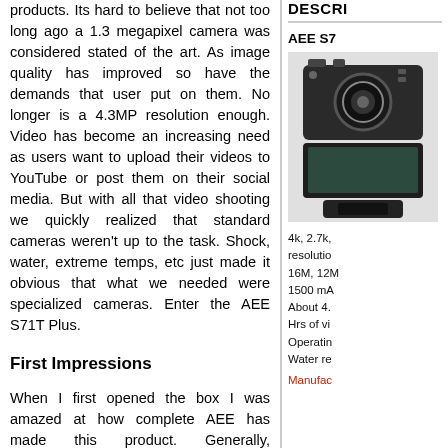products. Its hard to believe that not too long ago a 1.3 megapixel camera was considered stated of the art. As image quality has improved so have the demands that user put on them. No longer is a 4.3MP resolution enough. Video has become an increasing need as users want to upload their videos to YouTube or post them on their social media. But with all that video shooting we quickly realized that standard cameras weren't up to the task. Shock, water, extreme temps, etc just made it obvious that what we needed were specialized cameras. Enter the AEE S71T Plus.
First Impressions
When I first opened the box I was amazed at how complete AEE has made this product. Generally, manufacturers give you enough to get started and then you have to order a bunch of accessories. Not here my friends. Included in the box are the camera, a 2" Touch LCD Display, a quick release mount, two adhesive mounts (flat and concave), the mandatory USB charging/transfer cable, the water proof housing with an additional rear component to fit the camera
DESCRI
AEE S7
[Figure (photo): Photo of AEE S71T Plus camera product, showing black action camera body]
4k, 2.7k, resolution 16M, 12M, 1500 mA About 4. Hrs of vi Operating Water re
Manufac